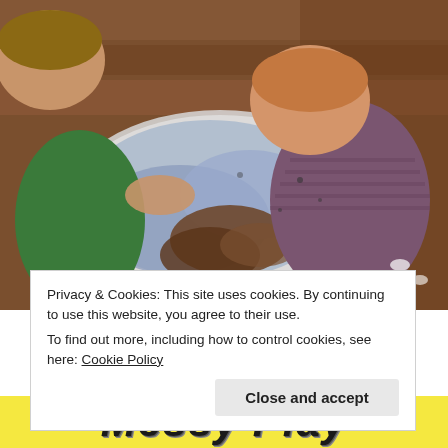[Figure (photo): Two children seen from above playing with messy blue paint and mud/dirt on a white sheet of paper on a wooden floor. One child wears a green shirt and the other wears a purple/mauve striped shirt.]
Privacy & Cookies: This site uses cookies. By continuing to use this website, you agree to their use.
To find out more, including how to control cookies, see here: Cookie Policy
Close and accept
Messy Play